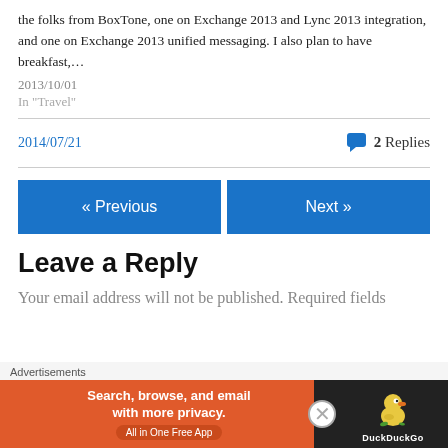the folks from BoxTone, one on Exchange 2013 and Lync 2013 integration, and one on Exchange 2013 unified messaging. I also plan to have breakfast,…
2013/10/01
In "Travel"
2014/07/21
2 Replies
« Previous
Next »
Leave a Reply
Your email address will not be published. Required fields
[Figure (infographic): DuckDuckGo advertisement banner: orange background on left with text 'Search, browse, and email with more privacy. All in One Free App', dark background on right with DuckDuckGo duck logo.]